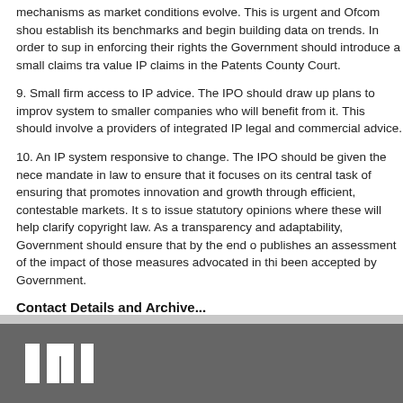mechanisms as market conditions evolve. This is urgent and Ofcom should establish its benchmarks and begin building data on trends. In order to support creators in enforcing their rights the Government should introduce a small claims track for lower value IP claims in the Patents County Court.
9. Small firm access to IP advice. The IPO should draw up plans to improve access to the system to smaller companies who will benefit from it. This should involve a search for providers of integrated IP legal and commercial advice.
10. An IP system responsive to change. The IPO should be given the necessary mandate in law to ensure that it focuses on its central task of ensuring that the UK IP system promotes innovation and growth through efficient, contestable markets. It should have powers to issue statutory opinions where these will help clarify copyright law. As a measure of transparency and adaptability, Government should ensure that by the end of 2013 the IPO publishes an assessment of the impact of those measures advocated in this report that have been accepted by Government.
Contact Details and Archive...
Department for Business, Innovation and Skills
Print this
[Figure (logo): INL logo in white on grey background]